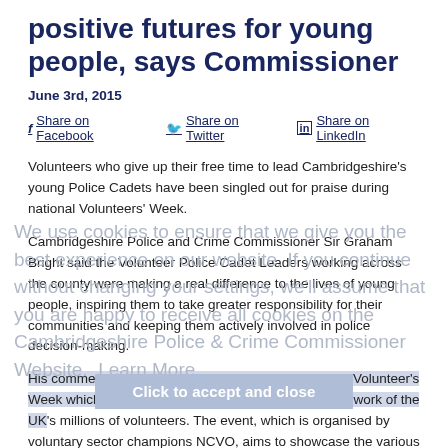positive futures for young people, says Commissioner
June 3rd, 2015
Share on Facebook   Share on Twitter   Share on LinkedIn
Volunteers who give up their free time to lead Cambridgeshire's young Police Cadets have been singled out for praise during national Volunteers' Week.
Cambridgeshire Police and Crime Commissioner Sir Graham Bright said the Volunteer Police Cadet Leaders working across the county were making a real difference to the lives of young people, inspiring them to take greater responsibility for their communities and keeping them actively involved in police decision-making.
His comments came as the nation celebrated national Volunteer's Week which runs from June 1 to 7 and recognises the work of the UK's millions of volunteers. The event, which is organised by voluntary sector champions NCVO, aims to showcase the various volunteering roles available for the public to get involved with and provide specific taster sessions as well as